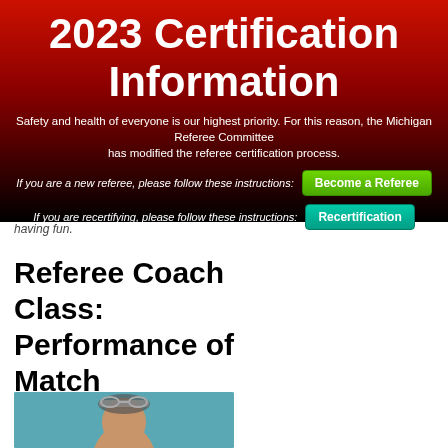2023 Certification Information
Safety and health of everyone is our highest priority. For this reason, the Michigan Referee Committee has modified the referee certification process.
If you are a new referee, please follow these instructions:
Become a Referee
If you are recertifying, please follow these instructions:
Recertification
having fun.
Referee Coach Class: Performance of Match Officials
[Figure (photo): Photo of a person with goggles on their head against a teal background]